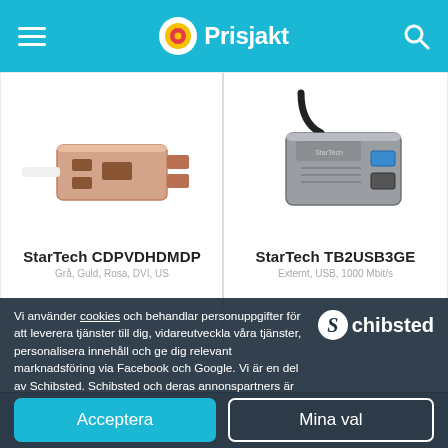Prisjakt
[Figure (photo): StarTech CDPVDHDMDP rose gold USB-C multiport adapter product photo]
StarTech CDPVDHDMDP
[Figure (photo): StarTech TB2USB3GE Thunderbolt USB 3.0 Gigabit Ethernet adapter product photo, silver/grey]
StarTech TB2USB3GE
Vi använder cookies och behandlar personuppgifter för att leverera tjänster till dig, vidareutveckla våra tjänster, personalisera innehåll och ge dig relevant marknadsföring via Facebook och Google. Vi är en del av Schibsted. Schibsted och deras annonspartners är ansvariga för leveransen och personaliseringen av annonser på Prisjakt och andra Schibstedsajter.
Acceptera
Mina val